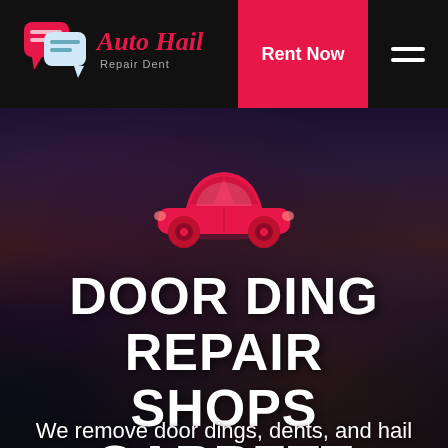[Figure (logo): Auto Hail Repair Dent logo with speech bubble icons on black header bar]
Rent Now
[Figure (illustration): Red car silhouette icon centered on dark moody sky hero background]
DOOR DING REPAIR SHOPS GARRETT WASHINGTON
We remove door dings, dents, and hail